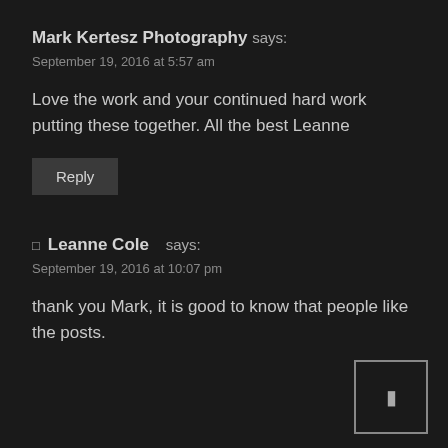Mark Kertesz Photography says:
September 19, 2016 at 5:57 am
Love the work and your continued hard work putting these together. All the best Leanne
Reply
Leanne Cole says:
September 19, 2016 at 10:07 pm
thank you Mark, it is good to know that people like the posts.